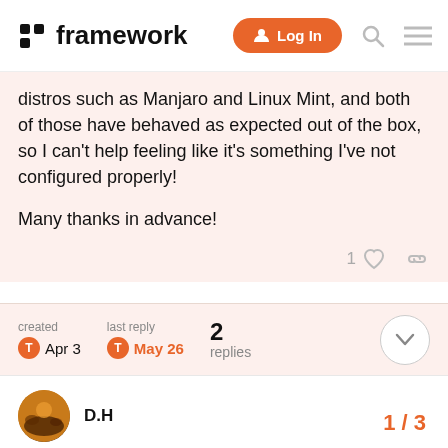framework | Log In
distros such as Manjaro and Linux Mint, and both of those have behaved as expected out of the box, so I can't help feeling like it's something I've not configured properly!
Many thanks in advance!
created Apr 3  last reply May 26  2 replies
D.H  Apr 3
As I understand it, this is a known bu package, which also affects the abilit